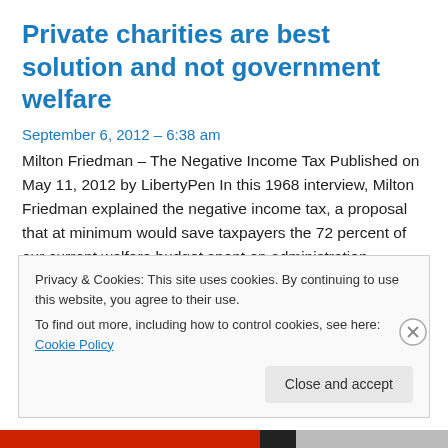Private charities are best solution and not government welfare
September 6, 2012 – 6:38 am
Milton Friedman – The Negative Income Tax Published on May 11, 2012 by LibertyPen In this 1968 interview, Milton Friedman explained the negative income tax, a proposal that at minimum would save taxpayers the 72 percent of our current welfare budget spent on administration.
Privacy & Cookies: This site uses cookies. By continuing to use this website, you agree to their use.
To find out more, including how to control cookies, see here: Cookie Policy